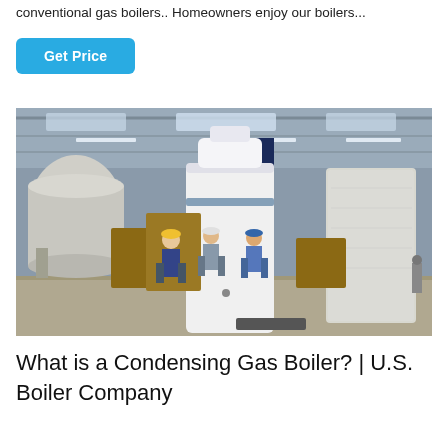conventional gas boilers.. Homeowners enjoy our boilers...
Get Price
[Figure (photo): Industrial warehouse or factory floor showing large white and navy blue cylindrical gas boilers. Several workers in hard hats and work clothes are visible in the background. The space has a high steel-truss ceiling with skylights and fluorescent lighting. Multiple boiler units are visible, some wrapped in protective plastic sheeting.]
What is a Condensing Gas Boiler? | U.S. Boiler Company